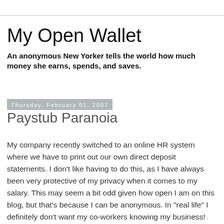My Open Wallet
An anonymous New Yorker tells the world how much money she earns, spends, and saves.
Thursday, February 01, 2007
Paystub Paranoia
My company recently switched to an online HR system where we have to print out our own direct deposit statements. I don't like having to do this, as I have always been very protective of my privacy when it comes to my salary. This may seem a bit odd given how open I am on this blog, but that's because I can be anonymous. In "real life" I definitely don't want my co-workers knowing my business! Our paystubs used to be distributed by one of the assistants